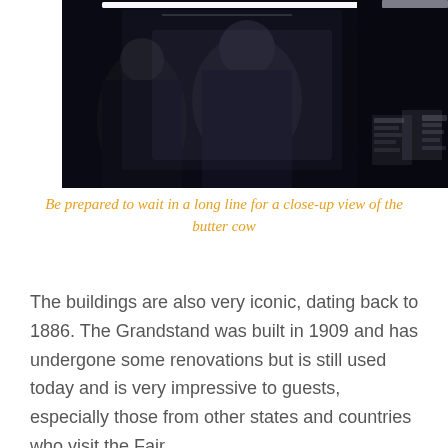[Figure (photo): Dark, blurry photograph of people crowding around what appears to be a refrigerated display case containing the butter cow at a state fair. The image is dark with reflections visible on the glass. Some text signage is partially visible in the background.]
Be prepared to wait in a long line for a close-up view of the butter cow
The buildings are also very iconic, dating back to 1886. The Grandstand was built in 1909 and has undergone some renovations but is still used today and is very impressive to guests, especially those from other states and countries who visit the Fair.